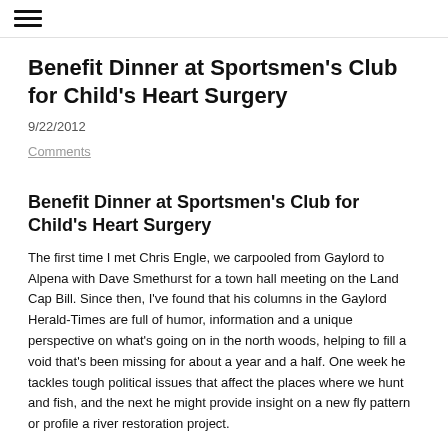☰
Benefit Dinner at Sportsmen's Club for Child's Heart Surgery
9/22/2012
Comments
Benefit Dinner at Sportsmen's Club for Child's Heart Surgery
The first time I met Chris Engle, we carpooled from Gaylord to Alpena with Dave Smethurst for a town hall meeting on the Land Cap Bill. Since then, I've found that his columns in the Gaylord Herald-Times are full of humor, information and a unique perspective on what's going on in the north woods, helping to fill a void that's been missing for about a year and a half. One week he tackles tough political issues that affect the places where we hunt and fish, and the next he might provide insight on a new fly pattern or profile a river restoration project.